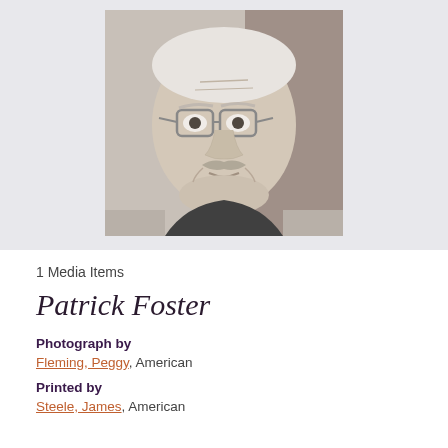[Figure (photo): Black and white photograph of Patrick Foster, an older man with glasses and a mustache, looking directly at the camera.]
1 Media Items
Patrick Foster
Photograph by
Fleming, Peggy, American
Printed by
Steele, James, American